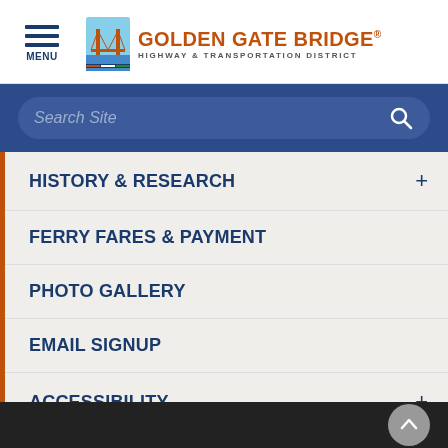[Figure (logo): Golden Gate Bridge Highway & Transportation District logo with hamburger menu icon and MENU label]
[Figure (screenshot): Search Site input bar with magnifying glass icon on navy blue background]
HISTORY & RESEARCH +
FERRY FARES & PAYMENT
PHOTO GALLERY
EMAIL SIGNUP
ACCESSIBILITY +
Back to top button